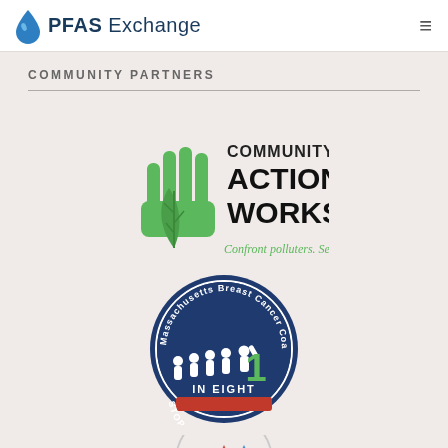PFAS Exchange
COMMUNITY PARTNERS
[Figure (logo): Community Action Works logo — green hand with leaf, text 'COMMUNITY ACTION WORKS' and tagline 'Confront polluters. Seed solutions.']
[Figure (logo): Massachusetts Breast Cancer Coalition circular badge logo — '1 IN EIGHT' with figures, 'STOP THE EPIDEMIC']
[Figure (logo): Partial circular logo at bottom, partially visible, with red and blue triangular shapes]